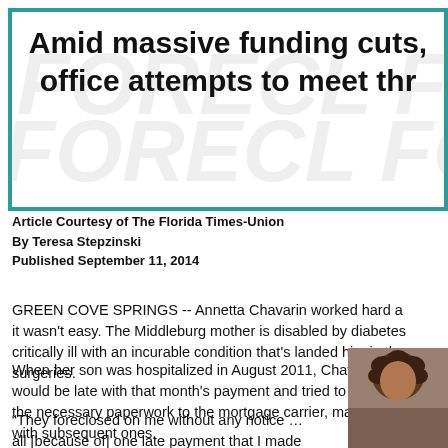Amid massive funding cuts, office attempts to meet thr
Article Courtesy of The Florida Times-Union
By Teresa Stepzinski
Published September 11, 2014
GREEN COVE SPRINGS -- Annetta Chavarin worked hard a it wasn't easy. The Middleburg mother is disabled by diabetes critically ill with an incurable condition that's landed him in the surgeries.
When her son was hospitalized in August 2011, Chavarin not would be late with that month's payment and tried to establish the necessary paperwork to the mortgage carrier, made up th with subsequent ones.
“They foreclosed on me without any notice … all [because of] one late payment that I made up,” said Chavarin, whose husband works for a pizza restaurant. The couple couldn't afford to hire an attorney. Frustrated, she couldn't help the
[Figure (photo): Photo of a person with curly hair]